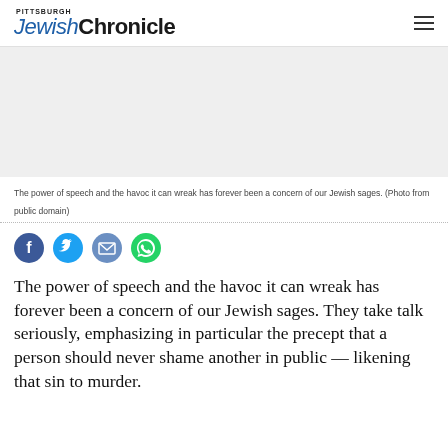PITTSBURGH JewishChronicle
[Figure (photo): Gray placeholder image area for article illustration]
The power of speech and the havoc it can wreak has forever been a concern of our Jewish sages. (Photo from public domain)
[Figure (infographic): Social sharing icons: Facebook (blue circle with f), Twitter (light blue circle with bird), Email (blue circle with envelope), WhatsApp (green circle with phone)]
The power of speech and the havoc it can wreak has forever been a concern of our Jewish sages. They take talk seriously, emphasizing in particular the precept that a person should never shame another in public — likening that sin to murder.